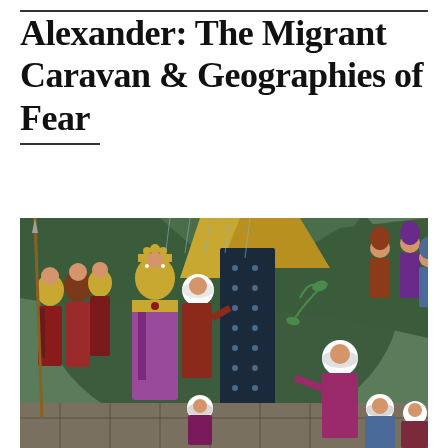Alexander: The Migrant Caravan & Geographies of Fear
[Figure (illustration): Medieval illuminated manuscript painting depicting Alexander the Great and his army. Soldiers wearing Byzantine-style armor and helmets are shown on the left. A central figure in ornate purple and gold robes stands prominently. Several figures in white turbans are present. A dark tower-like structure rises in the center-background. Figures appear to be in discussion or supplication. The artwork is in the style of medieval Byzantine/Armenian illumination with rich reds, golds, greens, and blues.]